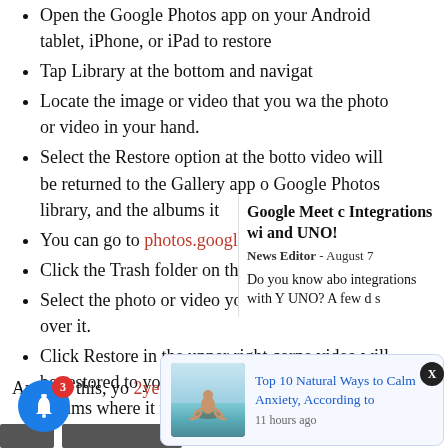Open the Google Photos app on your Android tablet, iPhone, or iPad to restore
Tap Library at the bottom and navigate
Locate the image or video that you wa the photo or video in your hand.
Select the Restore option at the botto video will be returned to the Gallery app Google Photos library, and the albums it
You can go to photos.google.com on y
Click the Trash folder on the left side
Select the photo or video you wish to your mouse over it.
Click Restore in the upper right corne video will be restored to your Google Ph added to any albums where it was previo
Apart from this, yo 2 year Viva
Google Meet c Integrations wi and UNO!
News Editor - August 7
Do you know abo integrations with Y UNO? A few d s a
[Figure (photo): Notification popup showing 'Top 10 Natural Ways to Calm Anxiety, According to' with a person meditating by the sea, posted 11 hours ago]
Top 10 Natural Ways to Calm Anxiety, According to
11 hours ago